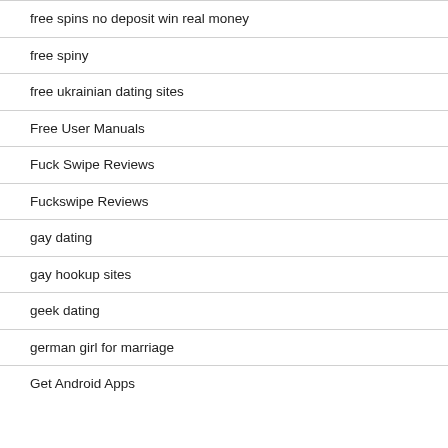free spins no deposit win real money
free spiny
free ukrainian dating sites
Free User Manuals
Fuck Swipe Reviews
Fuckswipe Reviews
gay dating
gay hookup sites
geek dating
german girl for marriage
Get Android Apps